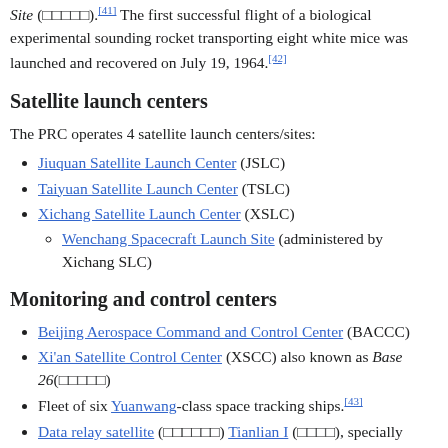Site (□□□□□).[41] The first successful flight of a biological experimental sounding rocket transporting eight white mice was launched and recovered on July 19, 1964.[42]
Satellite launch centers
The PRC operates 4 satellite launch centers/sites:
Jiuquan Satellite Launch Center (JSLC)
Taiyuan Satellite Launch Center (TSLC)
Xichang Satellite Launch Center (XSLC)
Wenchang Spacecraft Launch Site (administered by Xichang SLC)
Monitoring and control centers
Beijing Aerospace Command and Control Center (BACCC)
Xi'an Satellite Control Center (XSCC) also known as Base 26(□□□□□)
Fleet of six Yuanwang-class space tracking ships.[43]
Data relay satellite (□□□□□□) Tianlian I (□□□□), specially developed to decrease the communication time between the Shenzhou 7 spaceship and the ground; it will also improve the amount of data that can be transferred. The current orbit